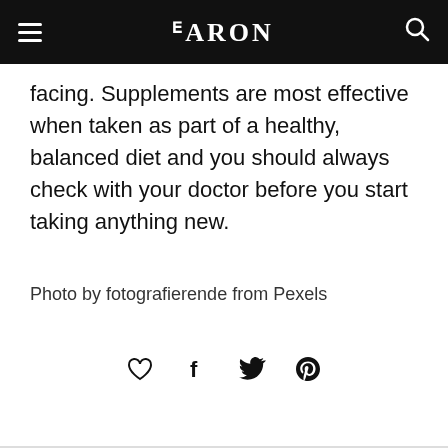BARON
facing. Supplements are most effective when taken as part of a healthy, balanced diet and you should always check with your doctor before you start taking anything new.
Photo by fotografierende from Pexels
[Figure (other): Social sharing icons: heart (like), Facebook, Twitter, Pinterest]